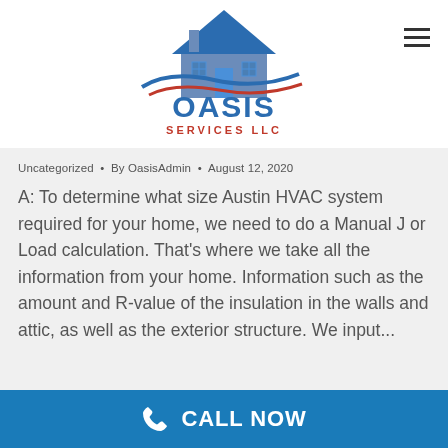[Figure (logo): Oasis Services LLC logo with house icon and blue/red swoosh]
Uncategorized • By OasisAdmin • August 12, 2020
A: To determine what size Austin HVAC system required for your home, we need to do a Manual J or Load calculation. That's where we take all the information from your home. Information such as the amount and R-value of the insulation in the walls and attic, as well as the exterior structure. We input...
CALL NOW